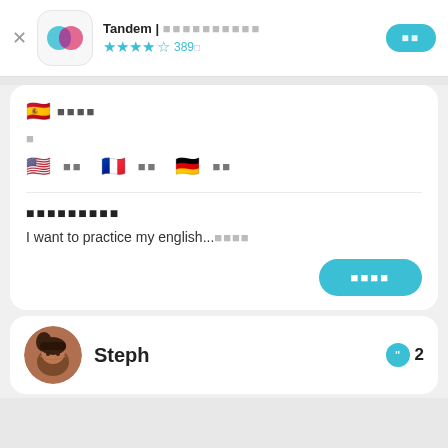Tandem | 언어교환 파트너 ★★★★☆ 389개
🇪🇸 스페인어
글
🇺🇸 영어   🇫🇷 프랑스어   🇩🇪 독일어
사용자이름
I want to practice my english...더보기
대화하기
Steph  2